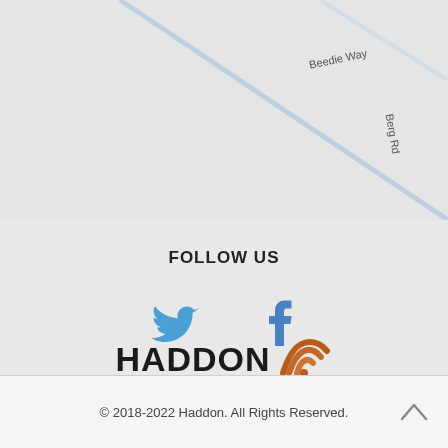[Figure (map): Street map showing Beedie Way and Berg Rd intersection on a light grey background]
FOLLOW US
[Figure (illustration): Twitter bird icon in blue and Facebook 'f' icon in blue, side by side as social media links]
[Figure (logo): Haddon logo with stylized WiFi/signal icon in orange and brown. Tagline: EQUIPMENT • CHEMICALS • SERVICE • PARTS]
© 2018-2022 Haddon. All Rights Reserved.